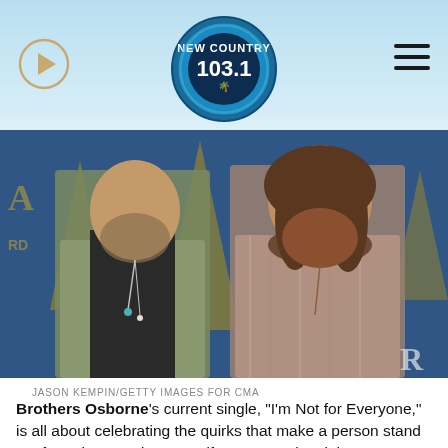New Country 103.1 — website header with play button, logo, and hamburger menu
[Figure (photo): Brothers Osborne (two men) posing in front of CMA Awards backdrop. Left man wears olive jacket with necklaces; right man has long curly hair and full beard, wears a patterned flannel shirt.]
JASON KEMPIN/GETTY IMAGES FOR CMA
Brothers Osborne's current single, "I'm Not for Everyone," is all about celebrating the quirks that make a person stand out from the crowd — even if some people might not accept them the way they are.
for the song's music video, the sibling duo enlisted one of their quirkiest pals — actor-turned-social-media-star Leslie Jordan — to play the starring role of